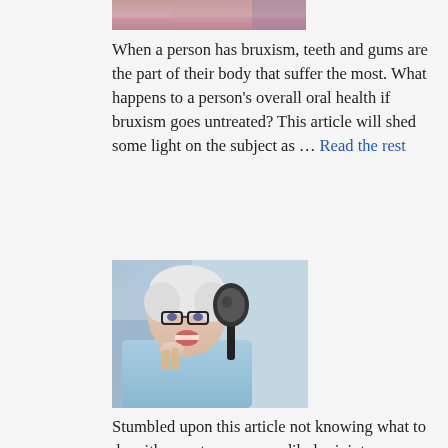[Figure (photo): Partial view of a person's face, cropped at top of page]
When a person has bruxism, teeth and gums are the part of their body that suffer the most. What happens to a person's overall oral health if bruxism goes untreated? This article will shed some light on the subject as … Read the rest
[Figure (photo): Elderly man with glasses and white hair, wearing a dental bib, holding a black dental mirror and examining his mouth at the dentist]
Stumbled upon this article not knowing what to do with your temporomandibular joint